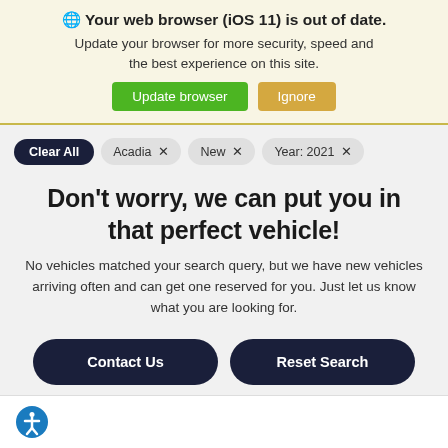🌐 Your web browser (iOS 11) is out of date. Update your browser for more security, speed and the best experience on this site.
[Figure (screenshot): Two buttons: 'Update browser' (green) and 'Ignore' (amber/gold)]
Clear All  Acadia ×  New ×  Year: 2021 ×
Don't worry, we can put you in that perfect vehicle!
No vehicles matched your search query, but we have new vehicles arriving often and can get one reserved for you. Just let us know what you are looking for.
[Figure (screenshot): Two dark buttons: 'Contact Us' and 'Reset Search']
[Figure (illustration): Accessibility icon (blue circle with person figure)]